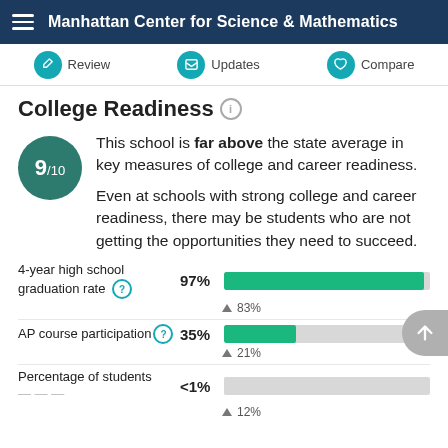Manhattan Center for Science & Mathematics
Review  Updates  Compare
College Readiness
This school is far above the state average in key measures of college and career readiness.
Even at schools with strong college and career readiness, there may be students who are not getting the opportunities they need to succeed.
[Figure (bar-chart): 4-year high school graduation rate]
[Figure (bar-chart): AP course participation]
[Figure (bar-chart): Percentage of students]